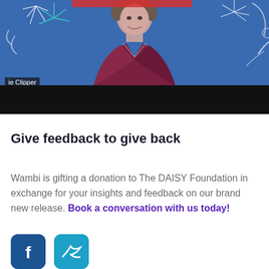[Figure (screenshot): Video thumbnail showing a person in a maroon blazer against a blue celebratory background with party decorations. A watermark label reading 'ie Clipper' is visible in the lower-left of the video frame. A black bar spans the bottom of the thumbnail.]
Give feedback to give back
Wambi is gifting a donation to The DAISY Foundation in exchange for your insights and feedback on our brand new release. Book a conversation with us today!
[Figure (logo): Two partial social media icon buttons visible at the bottom: a dark blue Facebook icon and a lighter blue Twitter/social icon.]